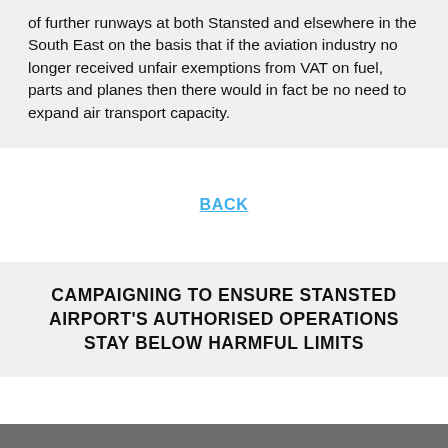of further runways at both Stansted and elsewhere in the South East on the basis that if the aviation industry no longer received unfair exemptions from VAT on fuel, parts and planes then there would in fact be no need to expand air transport capacity.
BACK
CAMPAIGNING TO ENSURE STANSTED AIRPORT'S AUTHORISED OPERATIONS STAY BELOW HARMFUL LIMITS